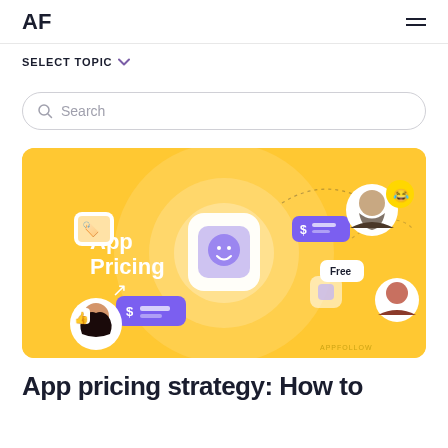AF
SELECT TOPIC
Search
[Figure (illustration): App Pricing promotional banner image on yellow/orange background showing app pricing concept with purple UI cards, dollar sign price tags, 'Free' badge, and cartoon user avatars. APPFOLLOW watermark in bottom right.]
App pricing strategy: How to